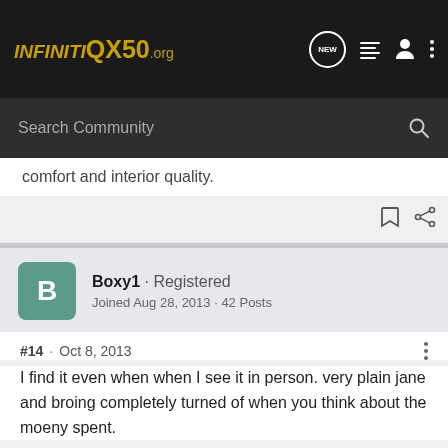INFINITI QX50.org — New · List · User · More
comfort and interior quality.
Boxy1 · Registered
Joined Aug 28, 2013 · 42 Posts
#14 · Oct 8, 2013
I find it even when when I see it in person. very plain jane and broing completely turned of when you think about the moeny spent.